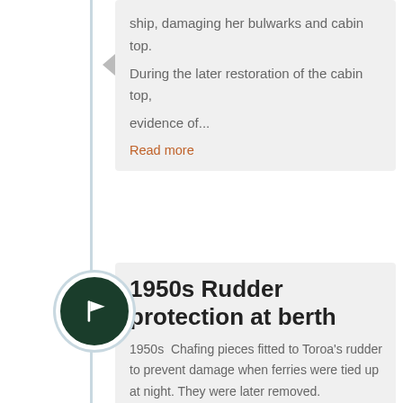ship, damaging her bulwarks and cabin top. During the later restoration of the cabin top, evidence of...
Read more
1950s Rudder protection at berth
1950s  Chafing pieces fitted to Toroa's rudder to prevent damage when ferries were tied up at night. They were later removed.
Read more
1959 Harbour Bridge opens
1959 30 May The opening of the Auckland